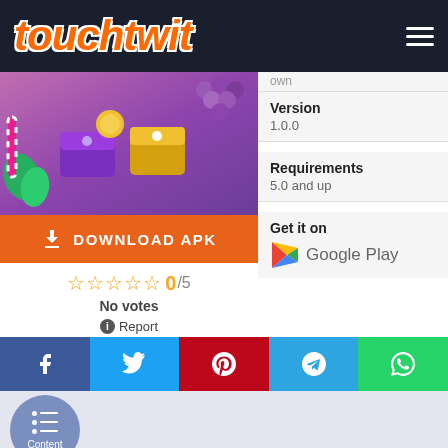touchtwit
[Figure (screenshot): Colorful mobile game screenshot showing treasure chests, gold coins, and game elements on purple background]
DOWNLOAD APK
0/5
No votes
Report
Version
1.0.0
Requirements
5.0 and up
Get it on
Google Play
[Figure (logo): Google Play logo triangle icon]
[Figure (infographic): Social share buttons: Facebook, Twitter, Pinterest, Telegram, WhatsApp]
[Figure (infographic): Content floating bubble button with list icon and label Content]